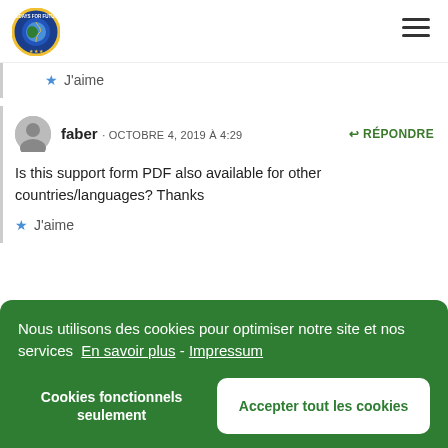Fridays for Future ECI logo and navigation
J'aime
faber · OCTOBRE 4, 2019 À 4:29 · RÉPONDRE
Is this support form PDF also available for other countries/languages? Thanks
J'aime
Nous utilisons des cookies pour optimiser notre site et nos services  En savoir plus - Impressum
Cookies fonctionnels seulement    Accepter tout les cookies